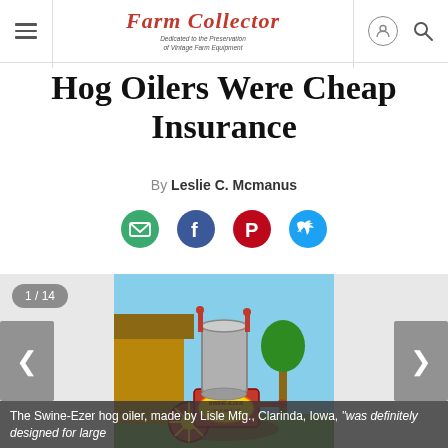Farm Collector — Dedicated to the Preservation of Vintage Farm Equipment
Hog Oilers Were Cheap Insurance
By Leslie C. Mcmanus
[Figure (infographic): Social sharing icons: email (green), Facebook (blue), Pinterest (red), Twitter (blue)]
[Figure (photo): The Swine-Ezer hog oiler, made by Lisle Mfg., Clarinda, Iowa, displayed outdoors. Large cylindrical metal tank on top of a red wheeled base with decorative painted lettering.]
The Swine-Ezer hog oiler, made by Lisle Mfg., Clarinda, Iowa, "was definitely designed for large